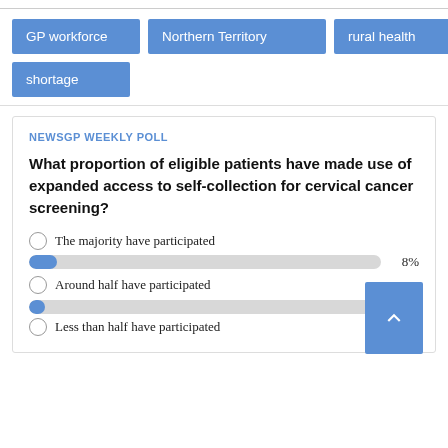GP workforce
Northern Territory
rural health
shortage
NEWSGP WEEKLY POLL
What proportion of eligible patients have made use of expanded access to self-collection for cervical cancer screening?
The majority have participated
Around half have participated
Less than half have participated